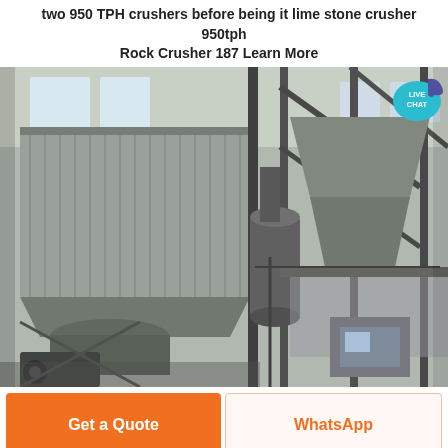two 950 TPH crushers before being it lime stone crusher 950tph Rock Crusher 187 Learn More
[Figure (photo): Industrial stone crusher machinery facility interior showing large metal hopper structures, steel framework, conveyor systems, and crushing equipment inside a warehouse building. A 'LIVE CHAT' badge overlay is visible in the top-right corner of the image.]
Get a Quote
WhatsApp